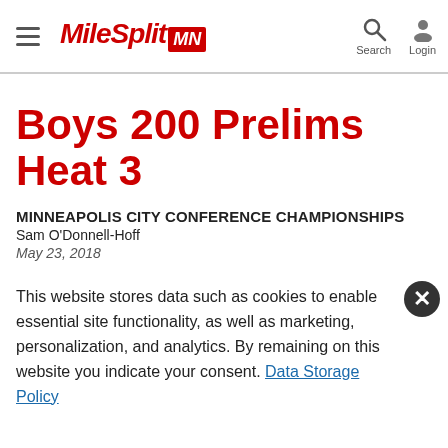MileSplit MN — Search Login
Boys 200 Prelims Heat 3
MINNEAPOLIS CITY CONFERENCE CHAMPIONSHIPS
Sam O'Donnell-Hoff
May 23, 2018
This website stores data such as cookies to enable essential site functionality, as well as marketing, personalization, and analytics. By remaining on this website you indicate your consent. Data Storage Policy